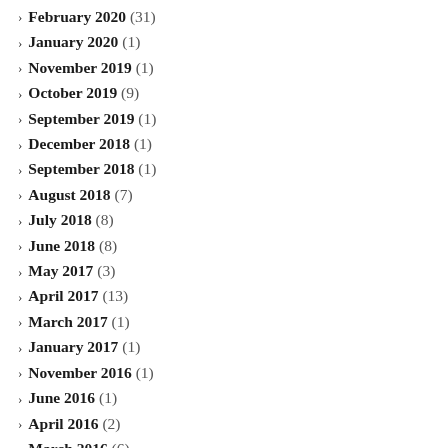February 2020 (31)
January 2020 (1)
November 2019 (1)
October 2019 (9)
September 2019 (1)
December 2018 (1)
September 2018 (1)
August 2018 (7)
July 2018 (8)
June 2018 (8)
May 2017 (3)
April 2017 (13)
March 2017 (1)
January 2017 (1)
November 2016 (1)
June 2016 (1)
April 2016 (2)
March 2016 (6)
February 2016 (13)
December 2015 (1)
July 2015 (1)
May 2015 (1)